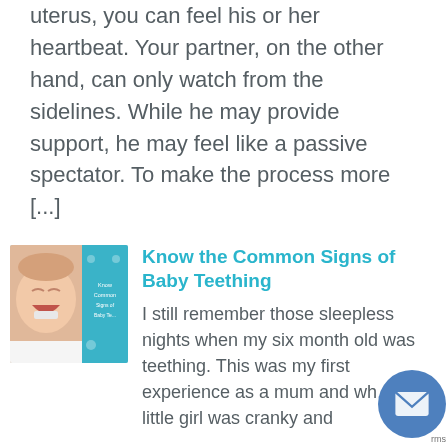uterus, you can feel his or her heartbeat. Your partner, on the other hand, can only watch from the sidelines. While he may provide support, he may feel like a passive spectator. To make the process more [...]
Know the Common Signs of Baby Teething
[Figure (photo): Thumbnail image of a laughing baby alongside a teal book cover with text 'Know Common Signs Baby T...']
I still remember those sleepless nights when my six month old was teething. This was my first experience as a mum and wh... my little girl was cranky and...